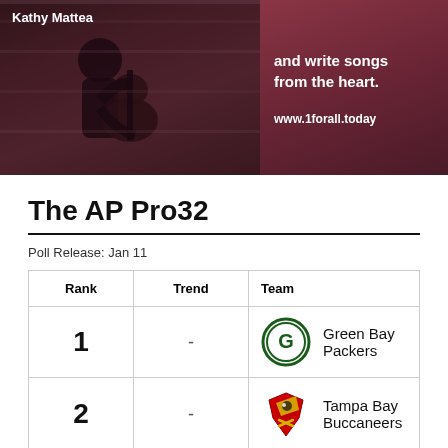[Figure (photo): Advertisement banner for 1forall.today featuring Kathy Mattea with guitar silhouette on dark pink/red background. Text reads 'and write songs from the heart. www.1forall.today']
The AP Pro32
Poll Release: Jan 11
| Rank | Trend | Team |
| --- | --- | --- |
| 1 | - | Green Bay Packers |
| 2 | - | Tampa Bay Buccaneers |
| 3 | ↑ 1 | Kansas City Chiefs |